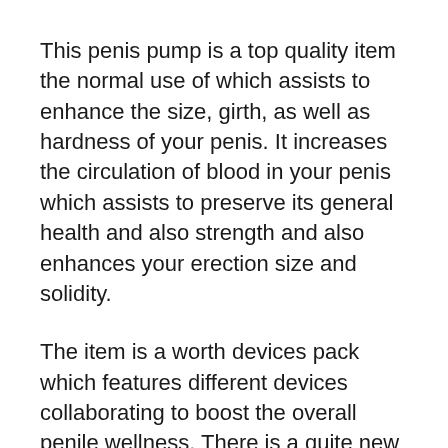This penis pump is a top quality item the normal use of which assists to enhance the size, girth, as well as hardness of your penis. It increases the circulation of blood in your penis which assists to preserve its general health and also strength and also enhances your erection size and solidity.
The item is a worth devices pack which features different devices collaborating to boost the overall penile wellness. There is a quite new and also innovative handball pump that assists to regulate the stress on your penis. You can just squeeze the handball pump to change the maximum stress.